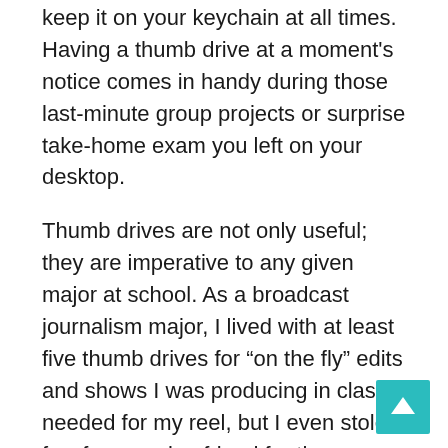keep it on your keychain at all times. Having a thumb drive at a moment's notice comes in handy during those last-minute group projects or surprise take-home exam you left on your desktop.
Thumb drives are not only useful; they are imperative to any given major at school. As a broadcast journalism major, I lived with at least five thumb drives for “on the fly” edits and shows I was producing in class I needed for my reel, but I even stole a few from my boyfriend for the occasional term paper (sorry sweetie).
Buying a thumb drive is not an investment; it’s